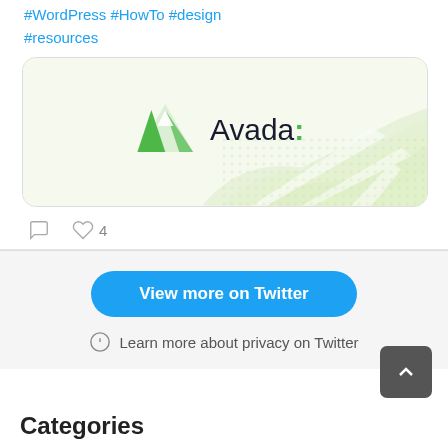#WordPress #HowTo #design #resources
[Figure (logo): Avada logo with green triangle icon and text 'Avada:' on a light green background with decorative green wave pattern]
♡ 4
View more on Twitter
Learn more about privacy on Twitter
Categories